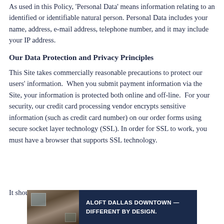As used in this Policy, 'Personal Data' means information relating to an identified or identifiable natural person. Personal Data includes your name, address, e-mail address, telephone number, and it may include your IP address.
Our Data Protection and Privacy Principles
This Site takes commercially reasonable precautions to protect our users' information.  When you submit payment information via the Site, your information is protected both online and off-line.  For your security, our credit card processing vendor encrypts sensitive information (such as credit card number) on our order forms using secure socket layer technology (SSL). In order for SSL to work, you must have a browser that supports SSL technology.
[Figure (other): Advertisement banner for Aloft Dallas Downtown hotel with text 'ALOFT DALLAS DOWNTOWN — DIFFERENT BY DESIGN.' and a hotel room photo on the left side]
It shoul... post to run the... to u...